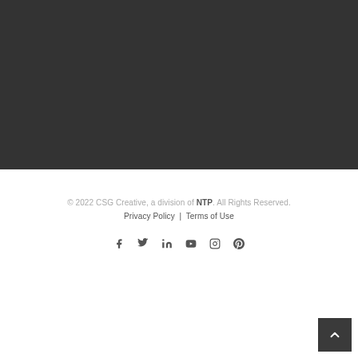[Figure (photo): Dark gray background section (upper half of page), appears to be a content/image area that is mostly empty or dark.]
© 2022 CSG Creative, a division of NTP. All Rights Reserved.
Privacy Policy  |  Terms of Use
[Figure (infographic): Row of social media icons: Facebook, Twitter, LinkedIn, YouTube, Instagram, Pinterest]
[Figure (other): Back to top button (dark square with upward chevron arrow) positioned bottom right]